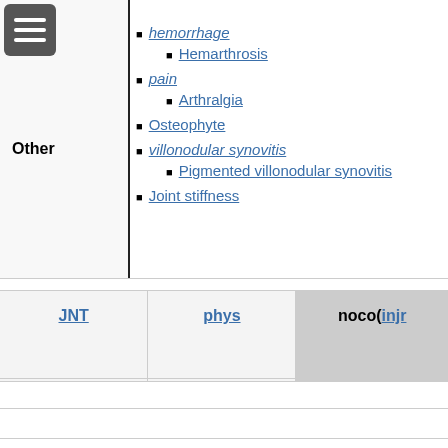hemorrhage
Hemarthrosis
pain
Arthralgia
Osteophyte
villonodular synovitis
Pigmented villonodular synovitis
Joint stiffness
| JNT | phys | noco(injr |
| --- | --- | --- |
|  |  |  |